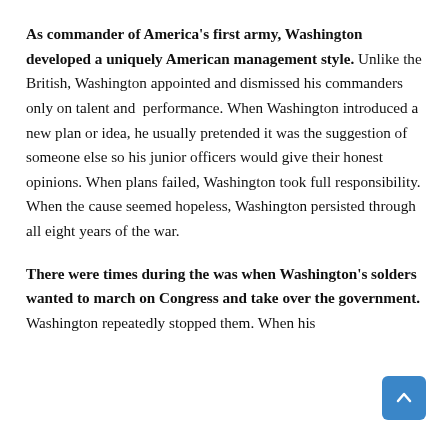As commander of America's first army, Washington developed a uniquely American management style. Unlike the British, Washington appointed and dismissed his commanders only on talent and performance. When Washington introduced a new plan or idea, he usually pretended it was the suggestion of someone else so his junior officers would give their honest opinions. When plans failed, Washington took full responsibility. When the cause seemed hopeless, Washington persisted through all eight years of the war.
There were times during the was when Washington's solders wanted to march on Congress and take over the government. Washington repeatedly stopped them. When his